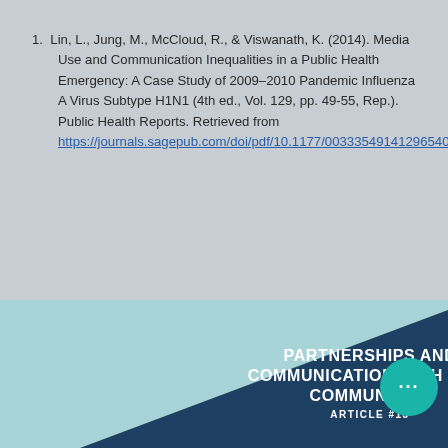1. Lin, L., Jung, M., McCloud, R., & Viswanath, K. (2014). Media Use and Communication Inequalities in a Public Health Emergency: A Case Study of 2009–2010 Pandemic Influenza A Virus Subtype H1N1 (4th ed., Vol. 129, pp. 49-55, Rep.). Public Health Reports. Retrieved from https://journals.sagepub.com/doi/pdf/10.1177/003335491412965408
PARTNERSHIPS AND COMMUNICATION WITH MINORITY COMMUNITIES ARTICLE #13